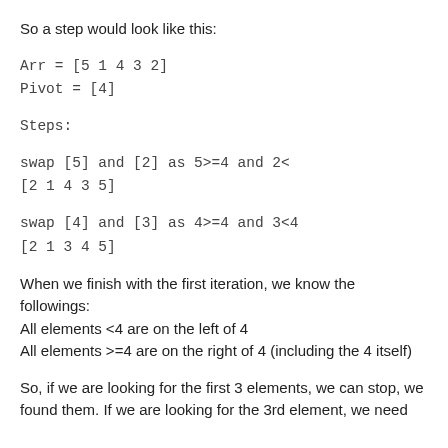So a step would look like this:
Arr = [5 1 4 3 2]
Pivot = [4]
Steps:
swap [5] and [2] as 5>=4 and 2<
[2 1 4 3 5]
swap [4] and [3] as 4>=4 and 3<4
[2 1 3 4 5]
When we finish with the first iteration, we know the followings:
All elements <4 are on the left of 4
All elements >=4 are on the right of 4 (including the 4 itself)
So, if we are looking for the first 3 elements, we can stop, we found them. If we are looking for the 3rd element, we need